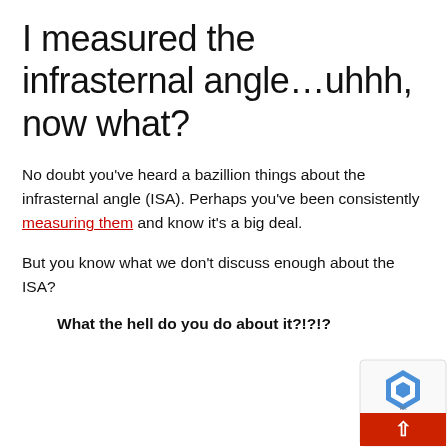I measured the infrasternal angle…uhhh, now what?
No doubt you've heard a bazillion things about the infrasternal angle (ISA). Perhaps you've been consistently measuring them and know it's a big deal.
But you know what we don't discuss enough about the ISA?
What the hell do you do about it?!?!?